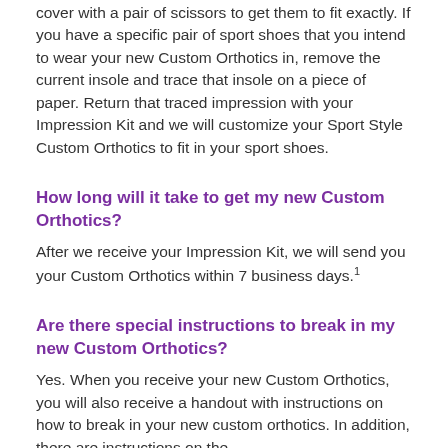cover with a pair of scissors to get them to fit exactly. If you have a specific pair of sport shoes that you intend to wear your new Custom Orthotics in, remove the current insole and trace that insole on a piece of paper. Return that traced impression with your Impression Kit and we will customize your Sport Style Custom Orthotics to fit in your sport shoes.
How long will it take to get my new Custom Orthotics?
After we receive your Impression Kit, we will send you your Custom Orthotics within 7 business days.
Are there special instructions to break in my new Custom Orthotics?
Yes. When you receive your new Custom Orthotics, you will also receive a handout with instructions on how to break in your new custom orthotics. In addition, there are instructions on the FootDoctorsOrthotics.com website.